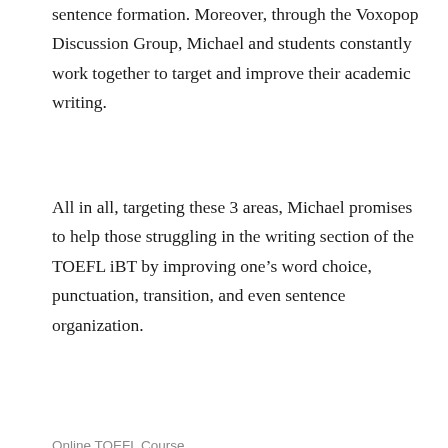sentence formation. Moreover, through the Voxopop Discussion Group, Michael and students constantly work together to target and improve their academic writing.
All in all, targeting these 3 areas, Michael promises to help those struggling in the writing section of the TOEFL iBT by improving one’s word choice, punctuation, transition, and even sentence organization.
Online TOEFL Course
Share this:
[Figure (illustration): Two circular social media share buttons: Twitter (blue bird icon) and Facebook (blue 'f' icon)]